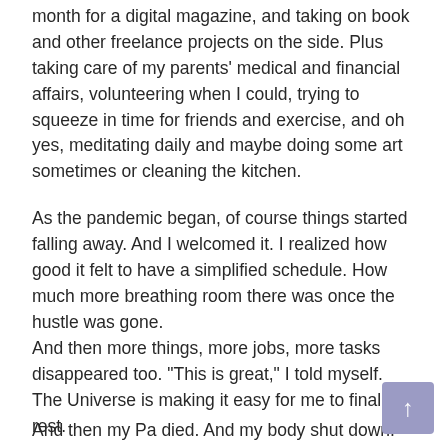month for a digital magazine, and taking on book and other freelance projects on the side. Plus taking care of my parents' medical and financial affairs, volunteering when I could, trying to squeeze in time for friends and exercise, and oh yes, meditating daily and maybe doing some art sometimes or cleaning the kitchen.
As the pandemic began, of course things started falling away. And I welcomed it. I realized how good it felt to have a simplified schedule. How much more breathing room there was once the hustle was gone.
And then more things, more jobs, more tasks disappeared too. "This is great," I told myself. The Universe is making it easy for me to finally rest.
And then my Pa died. And my body shut down. And I literally had no choice but to be still.
Lately I am prone to spontaneous weeping. As if something within has sprung a slow leak that I am unable to plug. In